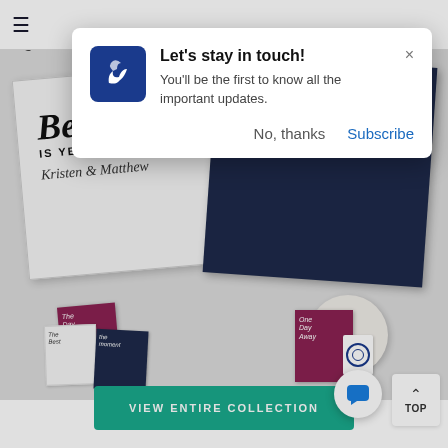[Figure (screenshot): Mobile website screenshot showing a push notification popup overlay on an e-commerce website selling personalized wedding napkins and party supplies. The popup reads 'Let's stay in touch!' with options 'No, thanks' and 'Subscribe'. Behind it are product photos of personalized napkins with 'The Best IS YET TO COME - Kristen & Matthew' and 'married - Let's Celebrate Brooke & Joseph', plus smaller product groupings. A teal 'VIEW ENTIRE COLLECTION' button is at the bottom.]